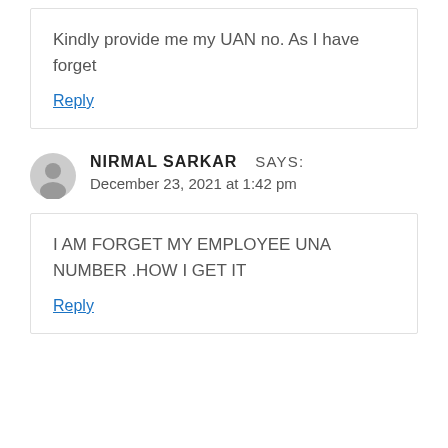Kindly provide me my UAN no. As I have forget
Reply
NIRMAL SARKAR SAYS:
December 23, 2021 at 1:42 pm
I AM FORGET MY EMPLOYEE UNA NUMBER .HOW I GET IT
Reply